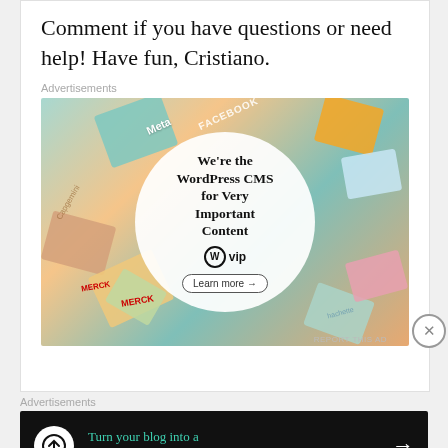Comment if you have questions or need help! Have fun, Cristiano.
Advertisements
[Figure (illustration): WordPress VIP advertisement showing brand logos (Meta, Facebook, Capgemini, Merck, Hachette, Wall Street) arranged in a mosaic background with a white circle in the center containing text 'We're the WordPress CMS for Very Important Content' with WordPress VIP logo and 'Learn more' button.]
REPORT THIS AD
Advertisements
[Figure (illustration): Dark banner advertisement: 'Turn your blog into a money-making online course.' with arrow button on right and circular icon on left.]
REPORT THIS AD